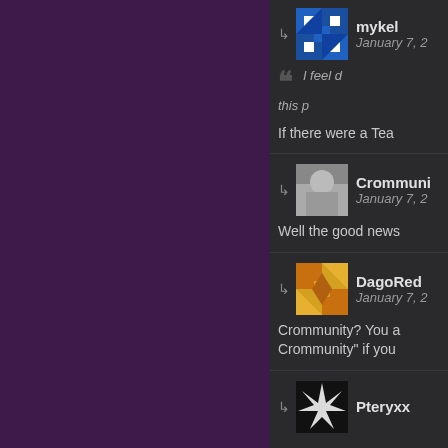[Figure (screenshot): Forum/community comment thread on a dark-themed website. Left side shows a dark purple sidebar. Right side shows three visible comment entries from users: mykel (January 7), Crommunity (January 7), DagoRed (January 7), and the beginning of Pteryxx's entry. Each has an avatar, username, timestamp, and partial comment text.]